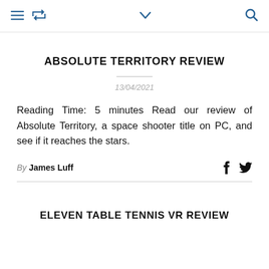≡ ↺ ∨ 🔍
ABSOLUTE TERRITORY REVIEW
13/04/2021
Reading Time: 5 minutes Read our review of Absolute Territory, a space shooter title on PC, and see if it reaches the stars.
By James Luff
ELEVEN TABLE TENNIS VR REVIEW